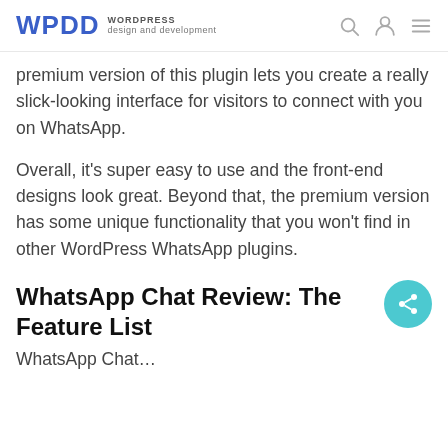WPDD WORDPRESS design and development
premium version of this plugin lets you create a really slick-looking interface for visitors to connect with you on WhatsApp.
Overall, it's super easy to use and the front-end designs look great. Beyond that, the premium version has some unique functionality that you won't find in other WordPress WhatsApp plugins.
WhatsApp Chat Review: The Feature List
WhatsApp Chat...